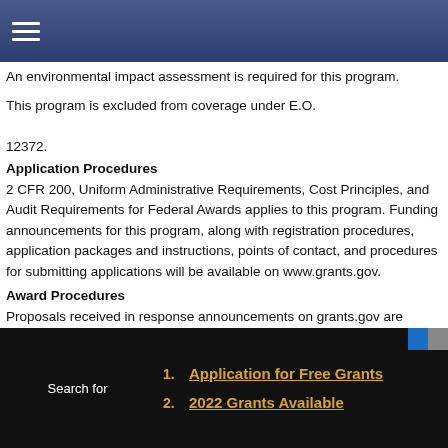☰ (navigation menu icon)
An environmental impact assessment is required for this program.
This program is excluded from coverage under E.O.

12372.
Application Procedures
2 CFR 200, Uniform Administrative Requirements, Cost Principles, and Audit Requirements for Federal Awards applies to this program. Funding announcements for this program, along with registration procedures, application packages and instructions, points of contact, and procedures for submitting applications will be available on www.grants.gov.
Award Procedures
Proposals received in response announcements on grants.gov are reviewed on the basis of a competitive, merit-based review process, and are rated in accordance with the evaluation criteria stated in the announcement. Awards may be made to the highest rated proposals based on the amount of funding available each year.
Deadlines
Contact the headquarters or regional office, as appropriate, for application deadlines.
Search for
1. Application for Free Grants
2. 2022 Grants Available